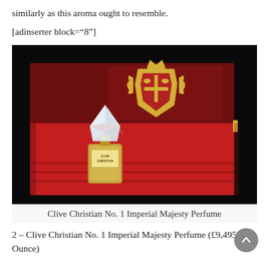similarly as this aroma ought to resemble.
[adinserter block="8"]
[Figure (photo): Clive Christian No. 1 Imperial Majesty Perfume in a red velvet-lined black box with a crystal decanter bottle and royal crest]
Clive Christian No. 1 Imperial Majesty Perfume
2 – Clive Christian No. 1 Imperial Majesty Perfume (£9,495 Per Ounce)